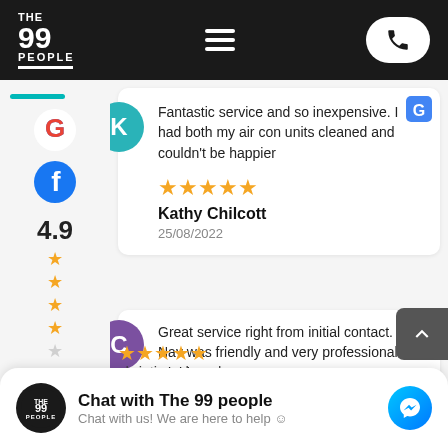[Figure (screenshot): Website header with The 99 People logo on black background, hamburger menu icon, and phone call button]
[Figure (logo): Google G icon]
[Figure (logo): Facebook icon]
4.9
750 reviews
Fantastic service and so inexpensive. I had both my air con units cleaned and couldn't be happier
★★★★★
Kathy Chilcott
25/08/2022
Great service right from initial contact. Nav was friendly and very professional. Highly
Chat with The 99 people
Chat with us! We are here to help 😊
christina chanshan